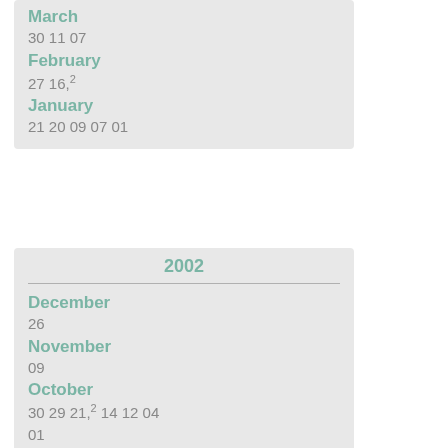March
30 11 07
February
27 16,2
January
21 20 09 07 01
2002
December
26
November
09
October
30 29 21,2 14 12 04 01
September
,2,3
August
23 13 08
July
26 22,2
June
,2 12 09,2 08 07,2,3,4 05
May
17 14,2 13 07 06 01,2
April